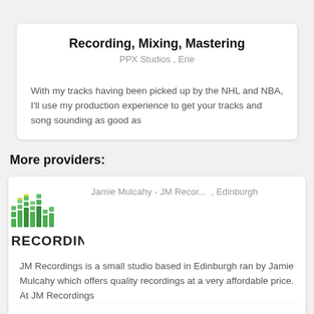Recording, Mixing, Mastering
PPX Studios , Erie
With my tracks having been picked up by the NHL and NBA, I'll use my production experience to get your tracks and song sounding as good as
More providers:
Jamie Mulcahy - JM Recor... , Edinburgh
JM Recordings is a small studio based in Edinburgh ran by Jamie Mulcahy which offers quality recordings at a very affordable price. At JM Recordings